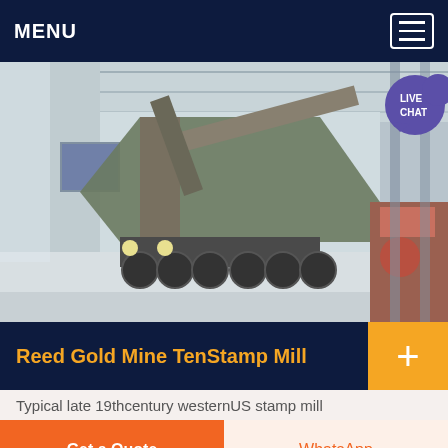MENU
[Figure (photo): Interior of a large industrial facility with a heavy piece of mining or construction equipment on a multi-axle transport vehicle, inside a factory/warehouse building with tall ceilings and metal framework.]
Reed Gold Mine TenStamp Mill
Typical late 19thcentury westernUS stamp mill
Get a Quote
WhatsApp